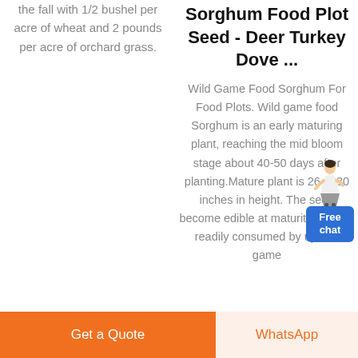the fall with 1/2 bushel per acre of wheat and 2 pounds per acre of orchard grass.
Sorghum Food Plot Seed - Deer Turkey Dove ...
Wild Game Food Sorghum For Food Plots. Wild game food Sorghum is an early maturing plant, reaching the mid bloom stage about 40-50 days after planting.Mature plant is 26 to 30 inches in height. The seed become edible at maturity and are readily consumed by upland game
[Figure (illustration): Customer service representative figure with Free chat button overlay]
Get a Quote
WhatsApp